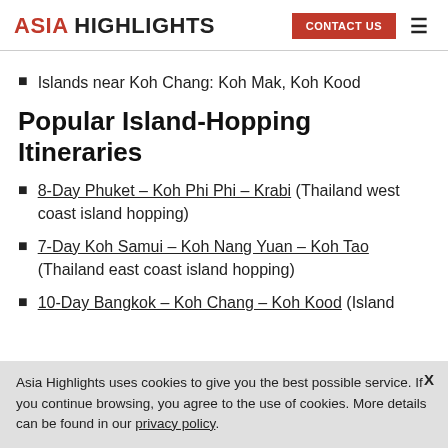ASIA HIGHLIGHTS | CONTACT US
Islands near Koh Chang: Koh Mak, Koh Kood
Popular Island-Hopping Itineraries
8-Day Phuket – Koh Phi Phi – Krabi (Thailand west coast island hopping)
7-Day Koh Samui – Koh Nang Yuan – Koh Tao (Thailand east coast island hopping)
10-Day Bangkok – Koh Chang – Koh Kood (Island
Asia Highlights uses cookies to give you the best possible service. If you continue browsing, you agree to the use of cookies. More details can be found in our privacy policy.